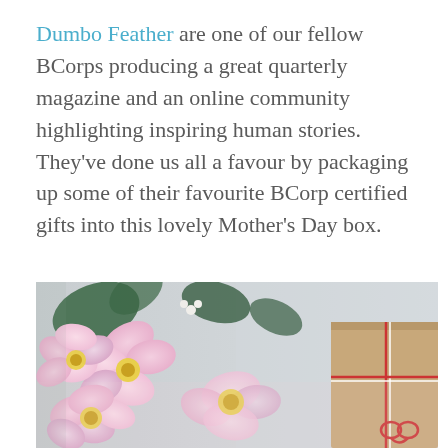Dumbo Feather are one of our fellow BCorps producing a great quarterly magazine and an online community highlighting inspiring human stories. They've done us all a favour by packaging up some of their favourite BCorp certified gifts into this lovely Mother's Day box.
[Figure (photo): A close-up photo of pink lisianthus flowers in the foreground with a kraft paper gift box tied with red and white twine visible on the right side, set against a textured grey background.]